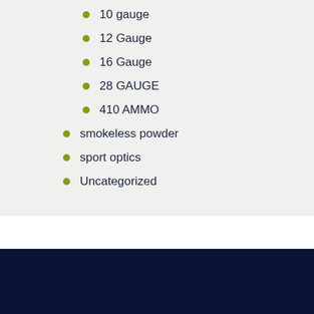10 gauge
12 Gauge
16 Gauge
28 GAUGE
410 AMMO
smokeless powder
sport optics
Uncategorized
Mega